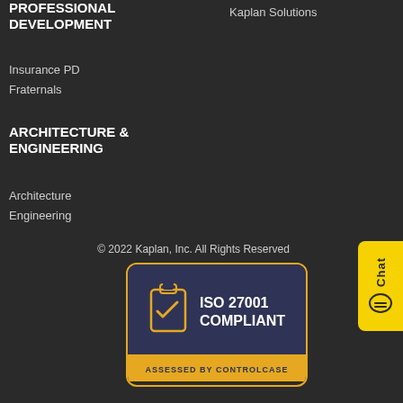PROFESSIONAL DEVELOPMENT
Insurance PD
Fraternals
Kaplan Solutions
ARCHITECTURE & ENGINEERING
Architecture
Engineering
© 2022 Kaplan, Inc. All Rights Reserved
[Figure (logo): ISO 27001 Compliant badge assessed by ControlCase, dark navy rounded rectangle with orange border, clipboard icon with checkmark, text ISO 27001 COMPLIANT in white, ASSESSED BY CONTROLCASE in orange on yellow-orange bottom bar]